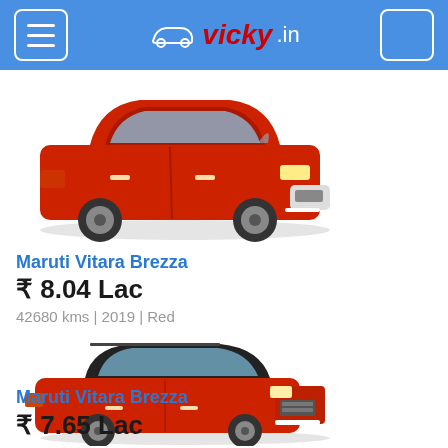vicky.in
[Figure (photo): Red Maruti Vitara Brezza SUV side/front view, 2019 model]
Maruti Vitara Brezza
₹ 8.04 Lac
42680 kms | 2019 | Red
[Figure (photo): Red Maruti Vitara Brezza SUV 3/4 front view, newer model]
Maruti Vitara Brezza
₹ 7.65 Lac